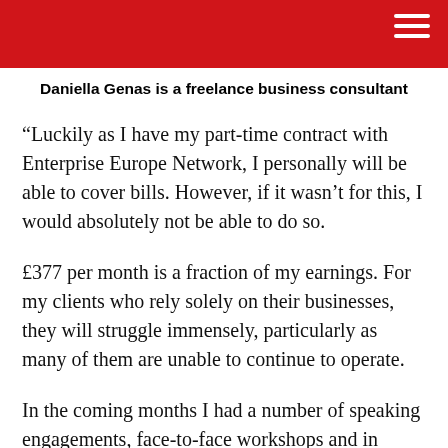Daniella Genas is a freelance business consultant
“Luckily as I have my part-time contract with Enterprise Europe Network, I personally will be able to cover bills. However, if it wasn’t for this, I would absolutely not be able to do so.
£377 per month is a fraction of my earnings. For my clients who rely solely on their businesses, they will struggle immensely, particularly as many of them are unable to continue to operate.
In the coming months I had a number of speaking engagements, face-to-face workshops and in person client sessions. Many (although not all) have been